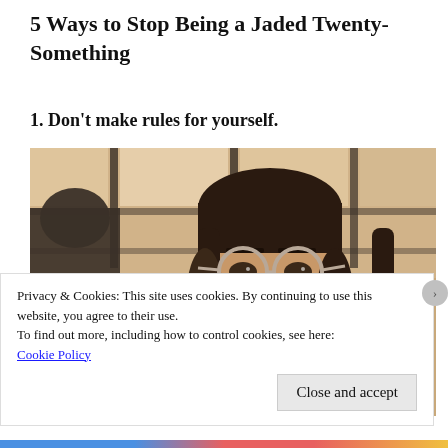5 Ways to Stop Being a Jaded Twenty-Something
1. Don't make rules for yourself.
[Figure (photo): A young woman with dark hair, bangs, and large round clear-framed glasses, wearing a green and white gingham/checkered shirt, looking directly at the camera with a serious expression. Background is blurred with warm tones suggesting an indoor setting with windows.]
Privacy & Cookies: This site uses cookies. By continuing to use this website, you agree to their use.
To find out more, including how to control cookies, see here: Cookie Policy
Close and accept